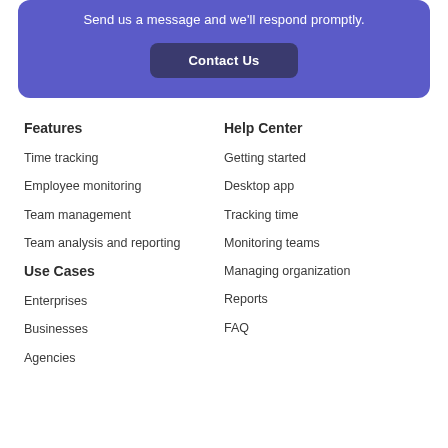Send us a message and we'll respond promptly.
Contact Us
Features
Time tracking
Employee monitoring
Team management
Team analysis and reporting
Help Center
Getting started
Desktop app
Tracking time
Monitoring teams
Managing organization
Reports
FAQ
Use Cases
Enterprises
Businesses
Agencies